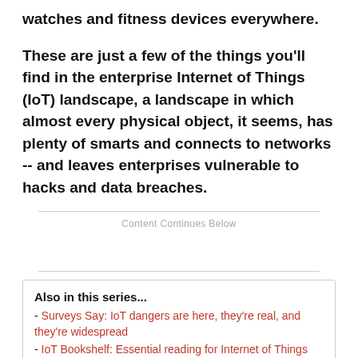watches and fitness devices everywhere.
These are just a few of the things you'll find in the enterprise Internet of Things (IoT) landscape, a landscape in which almost every physical object, it seems, has plenty of smarts and connects to networks -- and leaves enterprises vulnerable to hacks and data breaches.
Content Continues Below
Also in this series...
- Surveys Say: IoT dangers are here, they're real, and they're widespread
- IoT Bookshelf: Essential reading for Internet of Things security